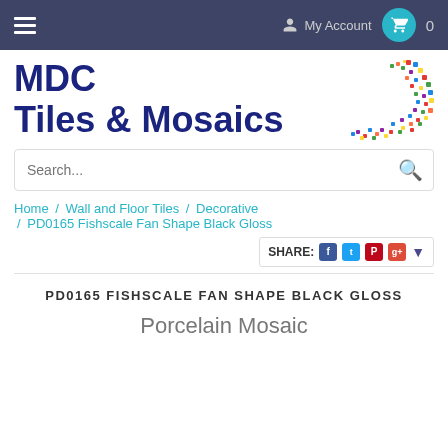My Account  0
[Figure (logo): MDC Tiles & Mosaics logo with colorful mosaic arc illustration]
Search...
Home / Wall and Floor Tiles / Decorative / PD0165 Fishscale Fan Shape Black Gloss
SHARE:
PD0165 FISHSCALE FAN SHAPE BLACK GLOSS
Porcelain Mosaic